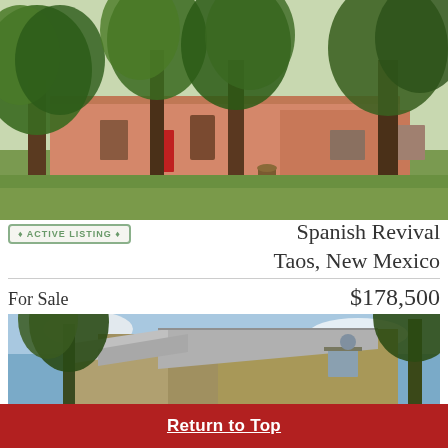[Figure (photo): Exterior photo of a Spanish Revival adobe home in Taos, New Mexico, surrounded by large green trees with lush grass in the foreground. The structure has a terracotta/salmon-colored stucco exterior with a red door.]
ACTIVE LISTING
Spanish Revival
Taos, New Mexico
For Sale	$178,500
[Figure (photo): Exterior photo of a historic house with a gabled metal roof, olive/tan siding, and large trees framing the structure against a blue sky.]
Return to Top